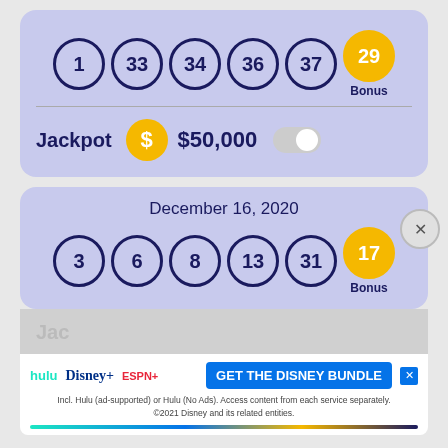[Figure (infographic): Lottery card 1: balls showing 1, 33, 34, 36, 37 and bonus ball 29. Jackpot: $50,000]
[Figure (infographic): Lottery card 2: December 16, 2020, balls showing 3, 6, 8, 13, 31 and bonus ball 17. Jackpot partially visible.]
[Figure (infographic): Disney Bundle advertisement banner: hulu, Disney+, ESPN+. GET THE DISNEY BUNDLE. Incl. Hulu (ad-supported) or Hulu (No Ads). Access content from each service separately. ©2021 Disney and its related entities.]